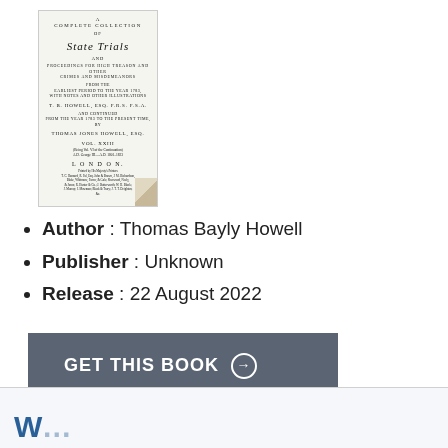[Figure (illustration): Book cover of 'A Complete Collection of State Trials' by T. B. Howell, Vol. XXIII, published in London. The cover shows the title page with author and publisher details in small print. A corner fold is visible at the bottom right.]
Author : Thomas Bayly Howell
Publisher : Unknown
Release : 22 August 2022
GET THIS BOOK →
W...